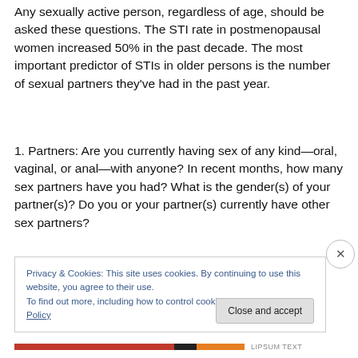Any sexually active person, regardless of age, should be asked these questions. The STI rate in postmenopausal women increased 50% in the past decade. The most important predictor of STIs in older persons is the number of sexual partners they've had in the past year.
1. Partners: Are you currently having sex of any kind—oral, vaginal, or anal—with anyone? In recent months, how many sex partners have you had? What is the gender(s) of your partner(s)? Do you or your partner(s) currently have other sex partners?
Privacy & Cookies: This site uses cookies. By continuing to use this website, you agree to their use.
To find out more, including how to control cookies, see here: Cookie Policy